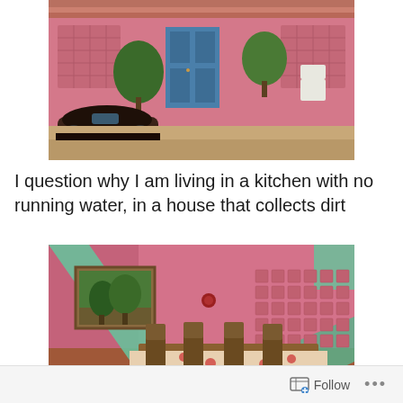[Figure (photo): Exterior of a pink house with a blue door, trees, a white chair, and a dark Volkswagen Beetle parked in front on a dirt driveway.]
I question why I am living in a kitchen with no running water, in a house that collects dirt
[Figure (photo): Interior of a pink-walled room with a dining table and chairs covered with a floral tablecloth, a framed landscape painting on the wall, decorative tiles, and a green hammock visible across the foreground.]
Follow ...